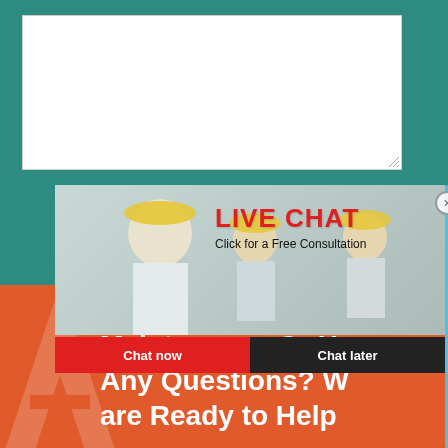[Figure (screenshot): Textarea input box with resize handle on teal background]
[Figure (screenshot): Orange rounded 'Order Now' button on teal background]
[Figure (screenshot): Live chat popup overlay with workers in hard hats photo, LIVE CHAT heading, 'Click for a Free Consultation' subtext, 'Chat now' and 'Chat later' buttons, close X button, smiley face headset icon on blue panel, 'Click me to chat >>' button, 'Enquiry' label, email address]
[Figure (screenshot): Orange/red bottom section with large white bold text: 'Need Roof Service, Maintenance Or Have Any Questions? We are Ready to Help' and semi-transparent A watermark]